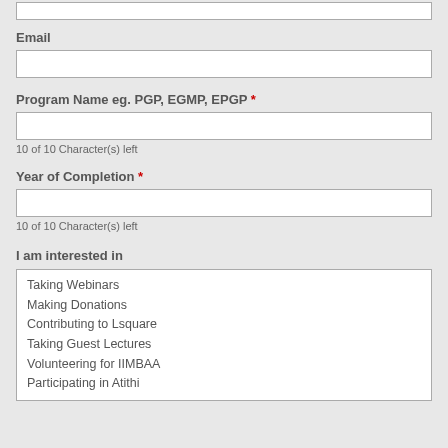Email
Program Name eg. PGP, EGMP, EPGP *
10 of 10 Character(s) left
Year of Completion *
10 of 10 Character(s) left
I am interested in
Taking Webinars
Making Donations
Contributing to Lsquare
Taking Guest Lectures
Volunteering for IIMBAA
Participating in Atithi